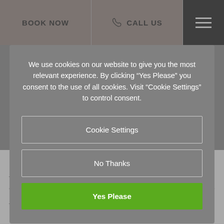BOOK NOW | CALL US
We use cookies on our website to give you the most relevant experience. By clicking “Yes Please” you consent to the use of all cookies. Visit "Cookie Settings" to control consent.
Cookie Settings
No Thanks
Yes Please
More sessions may be required for darker skin types as the Nd:Yag works slightly differently. Nonetheless results are well worth the extra sessions that may be needed. It is important to be fully aware of what to expect before your treatment.